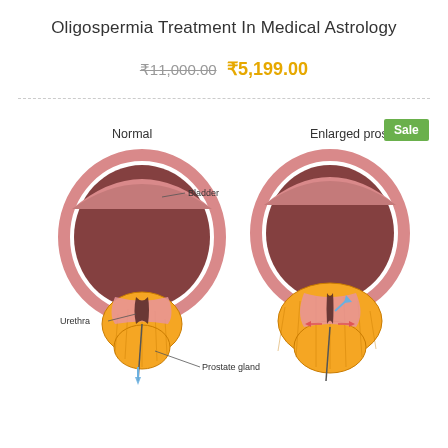Oligospermia Treatment In Medical Astrology
₹11,000.00 ₹5,199.00
[Figure (illustration): Medical illustration showing two side-by-side cross-section diagrams of the prostate and bladder. Left diagram labeled 'Normal' shows bladder, urethra, and prostate gland with annotations. Right diagram labeled 'Enlarged prostate' shows the same anatomy with an enlarged prostate compressing the urethra, with arrows indicating compression.]